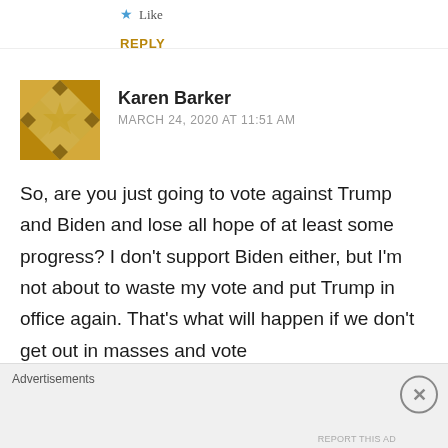Like
REPLY
Karen Barker
MARCH 24, 2020 AT 11:51 AM
So, are you just going to vote against Trump and Biden and lose all hope of at least some progress? I don't support Biden either, but I'm not about to waste my vote and put Trump in office again. That's what will happen if we don't get out in masses and vote
Advertisements